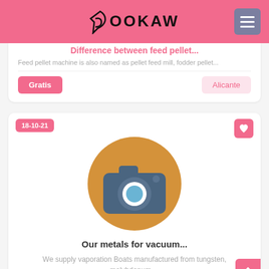BOOKAW
Difference between feed pellet...
Feed pellet machine is also named as pellet feed mill, fodder pellet...
Gratis | Alicante
[Figure (illustration): Camera icon on orange circle background — placeholder image for listing]
Our metals for vacuum...
We supply vaporation Boats manufactured from tungsten, molybdenum,...